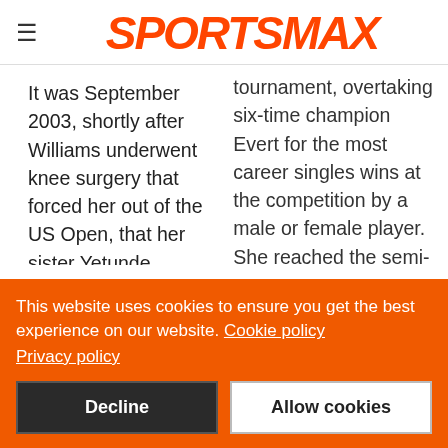SPORTSMAX
It was September 2003, shortly after Williams underwent knee surgery that forced her out of the US Open, that her sister Yetunde
tournament, overtaking six-time champion Evert for the most career singles wins at the competition by a male or female player. She reached the semi-
This website uses cookies to ensure you get the best experience on our website. Cookie policy
Privacy policy
Decline
Allow cookies